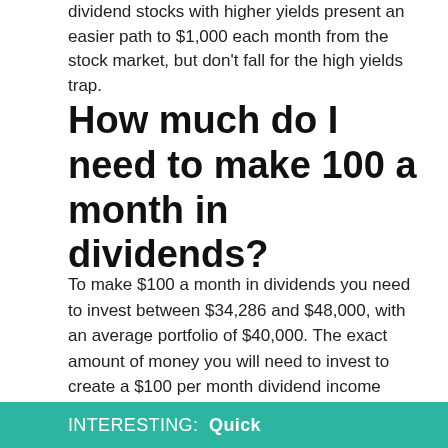dividend stocks with higher yields present an easier path to $1,000 each month from the stock market, but don't fall for the high yields trap.
How much do I need to make 100 a month in dividends?
To make $100 a month in dividends you need to invest between $34,286 and $48,000, with an average portfolio of $40,000. The exact amount of money you will need to invest to create a $100 per month dividend income depends on the dividend yield of the stocks.
INTERESTING:  Quick